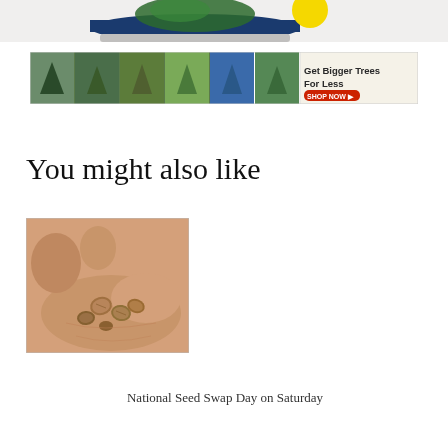[Figure (photo): Partial cropped image at top showing a bonsai tree or plant in a blue tray with a yellow circular element, against a white/grey background.]
[Figure (photo): Banner advertisement showing a collage of large conifer/evergreen trees with text 'Get Bigger Trees For Less' and a red 'SHOP NOW' button.]
You might also like
[Figure (photo): Close-up photo of a human hand (palm up) holding several small brown seeds.]
National Seed Swap Day on Saturday